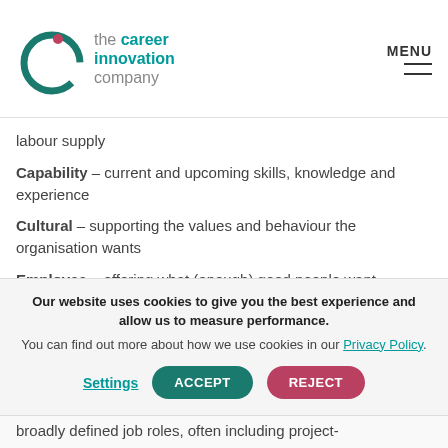the career innovation company
labour supply
Capability – current and upcoming skills, knowledge and experience
Cultural – supporting the values and behaviour the organisation wants
Employee – offering what (enough) good people want
Our website uses cookies to give you the best experience and allow us to measure performance. You can find out more about how we use cookies in our Privacy Policy.
broadly defined job roles, often including project-